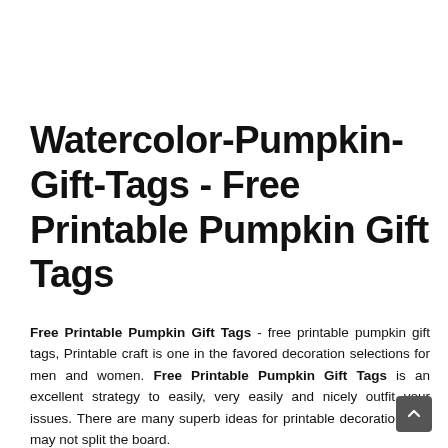Watercolor-Pumpkin-Gift-Tags - Free Printable Pumpkin Gift Tags
Free Printable Pumpkin Gift Tags - free printable pumpkin gift tags, Printable craft is one in the favored decoration selections for men and women. Free Printable Pumpkin Gift Tags is an excellent strategy to easily, very easily and nicely outfit your issues. There are many superb ideas for printable decoration that may not split the board.